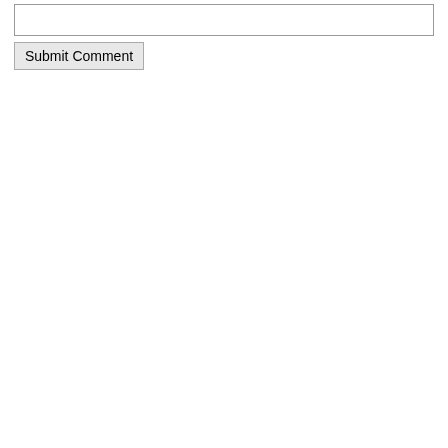[Figure (screenshot): A web form textarea input field (empty) with a border, followed by a Submit Comment button below it.]